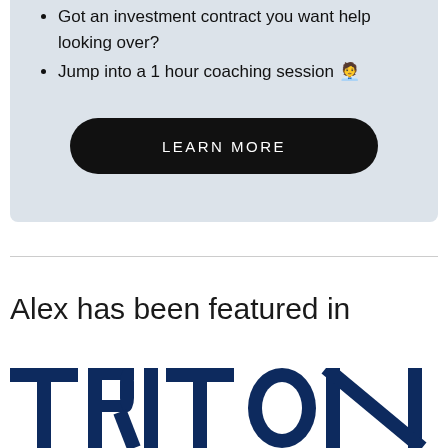Got an investment contract you want help looking over?
Jump into a 1 hour coaching session 🧑‍💼
LEARN MORE
Alex has been featured in
[Figure (logo): TRITON logo in dark navy blue bold letters]